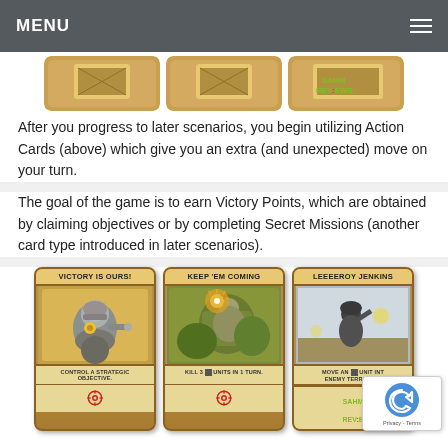MENU
[Figure (photo): Three game cards shown from above, partially cropped at the top of the page. SAHM Reviews watermark visible on third card.]
After you progress to later scenarios, you begin utilizing Action Cards (above) which give you an extra (and unexpected) move on your turn.
The goal of the game is to earn Victory Points, which are obtained by claiming objectives or by completing Secret Missions (another card type introduced in later scenarios).
[Figure (photo): Three game cards displayed: 'VICTORY IS OURS!' (Control a strategic objective), 'KEEP 'EM COMING' (Kill 3 units in 1 turn), 'LEEEEROY JENKINS' (Move an unit into enemy territory). Each card has a crosshair/target icon. SAHM Reviews watermark visible.]
All of these variables take this strategy game to a level that